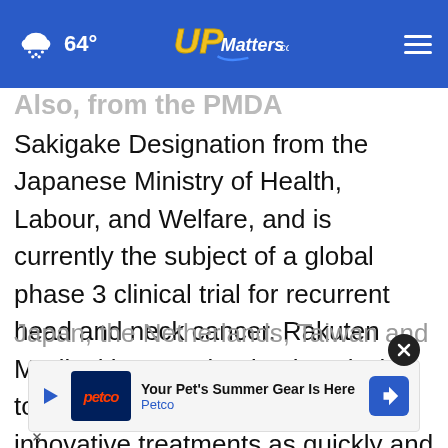64° UPMatters.com
Sakigake Designation from the Japanese Ministry of Health, Labour, and Welfare, and is currently the subject of a global phase 3 clinical trial for recurrent head and neck cancer. Rakuten Medical is committed to its mission to conquer cancer by delivering our innovative treatments as quickly and safely as possible to as many patients all over the world as possible. The company has offices in 5 countries, including the U... d, Japan, the Netherlands, Taiwan and
[Figure (screenshot): Petco advertisement banner: 'Your Pet's Summer Gear Is Here - Petco']